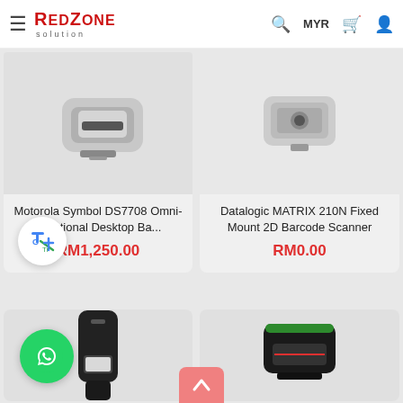RedZone Solution — MYR navigation header with hamburger menu, search, cart, and user icons
[Figure (photo): Motorola Symbol DS7708 barcode scanner device, white/grey color, top-left product card]
Motorola Symbol DS7708 Omni-directional Desktop Ba...
RM1,250.00
[Figure (photo): Datalogic MATRIX 210N fixed mount 2D barcode scanner, top-right product card]
Datalogic MATRIX 210N Fixed Mount 2D Barcode Scanner
RM0.00
[Figure (photo): Barcode scanner device, bottom-left product card, black vertical scanner]
[Figure (photo): Barcode scanner device, bottom-right product card, black horizontal scanner with red laser]
[Figure (logo): Google Translate floating bubble icon]
[Figure (logo): WhatsApp floating green circle button]
[Figure (other): Scroll-to-top salmon/pink button with up arrow]